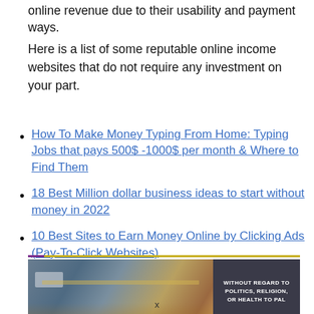online revenue due to their usability and payment ways.
Here is a list of some reputable online income websites that do not require any investment on your part.
How To Make Money Typing From Home: Typing Jobs that pays 500$ -1000$ per month & Where to Find Them
18 Best Million dollar business ideas to start without money in 2022
10 Best Sites to Earn Money Online by Clicking Ads (Pay-To-Click Websites)
[Figure (photo): Advertisement banner showing an airplane being loaded with cargo/freight, with text panel reading 'WITHOUT REGARD TO POLITICS, RELIGION, OR HEALTH TO PAL']